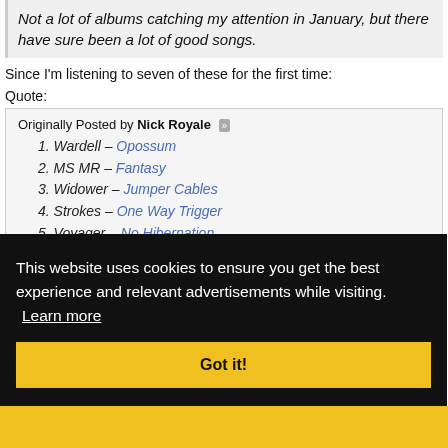Not a lot of albums catching my attention in January, but there have sure been a lot of good songs.
Since I'm listening to seven of these for the first time:
Quote:
Originally Posted by Nick Royale
1. Wardell – Opossum
2. MS MR – Fantasy
3. Widower – Jumper Cables
4. Strokes – One Way Trigger
5. Voyager – No Hibernation
This website uses cookies to ensure you get the best experience and relevant advertisements while visiting. Learn more
Got it!